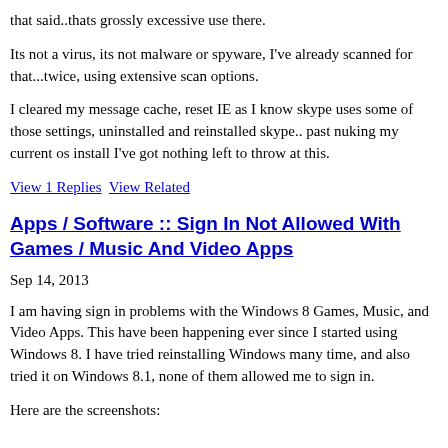that said..thats grossly excessive use there.
Its not a virus, its not malware or spyware, I've already scanned for that...twice, using extensive scan options.
I cleared my message cache, reset IE as I know skype uses some of those settings, uninstalled and reinstalled skype.. past nuking my current os install I've got nothing left to throw at this.
View 1 Replies   View Related
Apps / Software :: Sign In Not Allowed With Games / Music And Video Apps
Sep 14, 2013
I am having sign in problems with the Windows 8 Games, Music, and Video Apps. This have been happening ever since I started using Windows 8. I have tried reinstalling Windows many time, and also tried it on Windows 8.1, none of them allowed me to sign in.
Here are the screenshots: